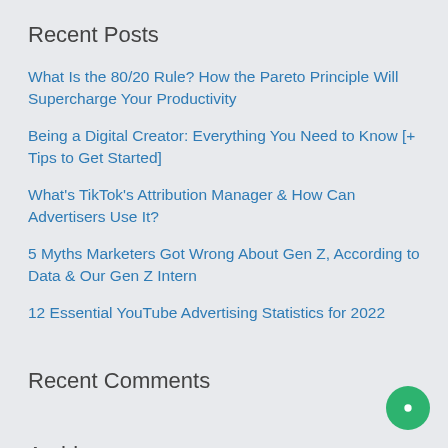Recent Posts
What Is the 80/20 Rule? How the Pareto Principle Will Supercharge Your Productivity
Being a Digital Creator: Everything You Need to Know [+ Tips to Get Started]
What's TikTok's Attribution Manager & How Can Advertisers Use It?
5 Myths Marketers Got Wrong About Gen Z, According to Data & Our Gen Z Intern
12 Essential YouTube Advertising Statistics for 2022
Recent Comments
Archives